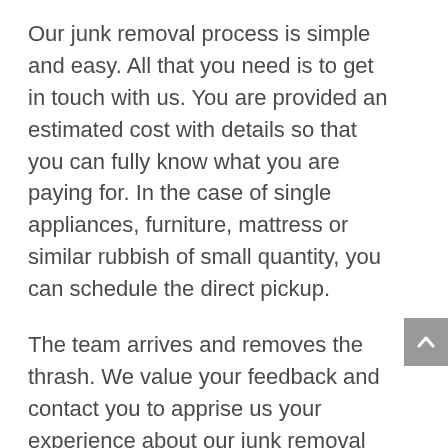Our junk removal process is simple and easy. All that you need is to get in touch with us. You are provided an estimated cost with details so that you can fully know what you are paying for. In the case of single appliances, furniture, mattress or similar rubbish of small quantity, you can schedule the direct pickup.
The team arrives and removes the thrash. We value your feedback and contact you to apprise us your experience about our junk removal services in Lynnwood. There are discounts for recyclable items in the trash removed.